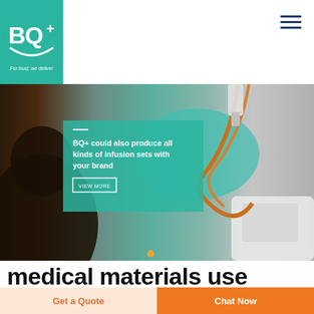[Figure (logo): BQ+ logo — teal square background with white BQ+ text and 'For trust, we deliver' tagline]
[Figure (photo): Medical professional wearing teal gloves handling an IV infusion set with amber tubing connected to a white medical device]
BQ+ could also produce all kinds of infusion sets with your brand
medical materials use
Get a Quote
Chat Now